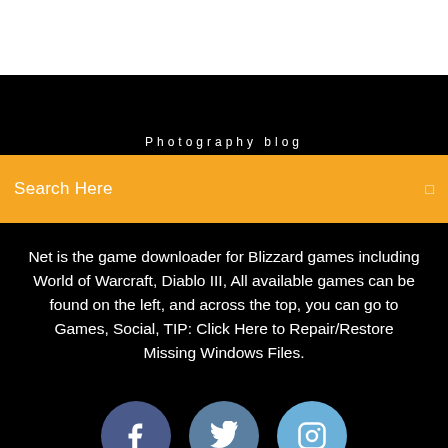Photography blog
Search Here
Net is the game downloader for Blizzard games including World of Warcraft, Diablo III, All available games can be found on the left, and across the top, you can go to Games, Social, TIP: Click Here to Repair/Restore Missing Windows Files.
[Figure (illustration): Three social media icon buttons: Facebook (dark blue-purple circle with f logo), Twitter (medium blue circle with bird logo), Instagram (light blue circle with camera logo)]